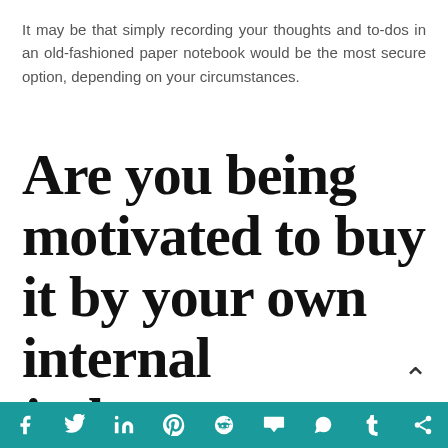It may be that simply recording your thoughts and to-dos in an old-fashioned paper notebook would be the most secure option, depending on your circumstances.
Are you being motivated to buy it by your own internal judgement, or by a savvy advertising
Social sharing bar: Facebook, Twitter, LinkedIn, Pinterest, Reddit, Mix, WhatsApp, Tumblr, Share